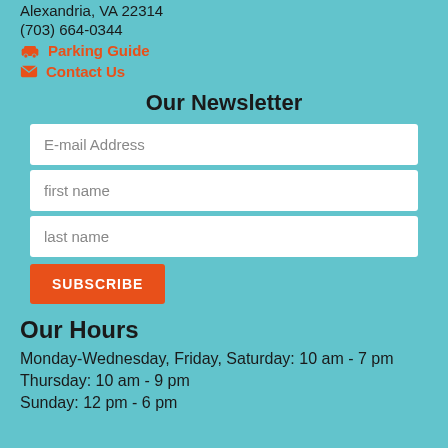Alexandria, VA 22314
(703) 664-0344
Parking Guide
Contact Us
Our Newsletter
E-mail Address
first name
last name
SUBSCRIBE
Our Hours
Monday-Wednesday, Friday, Saturday: 10 am - 7 pm
Thursday: 10 am - 9 pm
Sunday: 12 pm - 6 pm